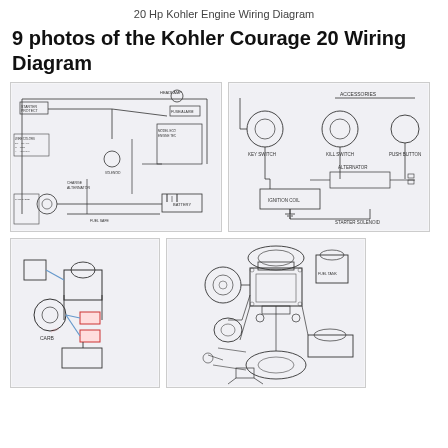20 Hp Kohler Engine Wiring Diagram
9 photos of the Kohler Courage 20 Wiring Diagram
[Figure (schematic): Kohler engine electrical wiring schematic with battery, starter motor, fuel pump, oil sensor, ignition coil, and associated wiring harness connections]
[Figure (schematic): Kohler engine wiring diagram showing key switch, kill switch, push button, alternator, ignition coil, and starter solenoid with accessories]
[Figure (schematic): Simple Kohler engine carburetor/fuel system schematic with red and blue wiring connections]
[Figure (engineering-diagram): Detailed exploded parts diagram of Kohler engine showing engine components, air filter, starter, carburetor and associated parts]